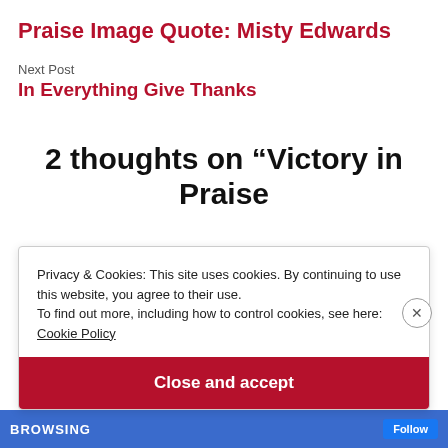Praise Image Quote: Misty Edwards
Next Post
In Everything Give Thanks
2 thoughts on “Victory in Praise
Privacy & Cookies: This site uses cookies. By continuing to use this website, you agree to their use.
To find out more, including how to control cookies, see here:
Cookie Policy
Close and accept